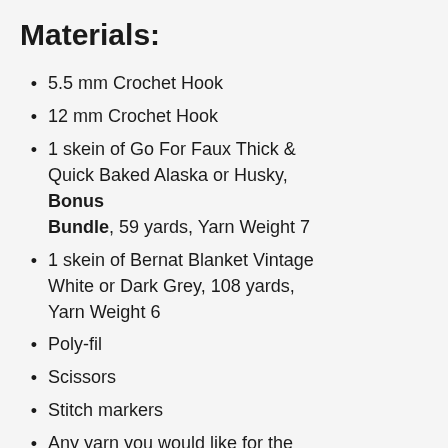Materials:
5.5 mm Crochet Hook
12 mm Crochet Hook
1 skein of Go For Faux Thick & Quick Baked Alaska or Husky, Bonus Bundle, 59 yards, Yarn Weight 7
1 skein of Bernat Blanket Vintage White or Dark Grey, 108 yards, Yarn Weight 6
Poly-fil
Scissors
Stitch markers
Any yarn you would like for the eyes, I used scrap Bernat Blanket